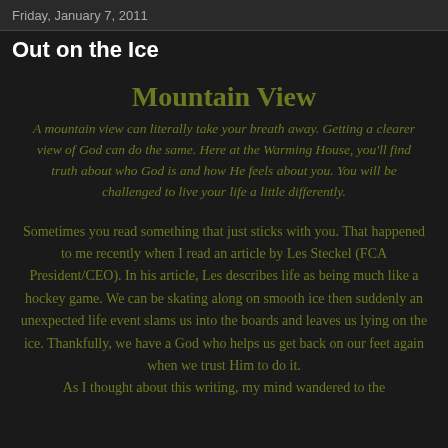Friday, January 7, 2011
Out on the Ice
Mountain View
A mountain view can literally take your breath away. Getting a clearer view of God can do the same. Here at the Warming House, you'll find truth about who God is and how He feels about you. You will be challenged to live your life a little differently.
Sometimes you read something that just sticks with you. That happened to me recently when I read an article by Les Steckel (FCA President/CEO). In his article, Les describes life as being much like a hockey game. We can be skating along on smooth ice then suddenly an unexpected life event slams us into the boards and leaves us lying on the ice. Thankfully, we have a God who helps us get back on our feet again when we trust Him to do it.
As I thought about this writing, my mind wandered to the